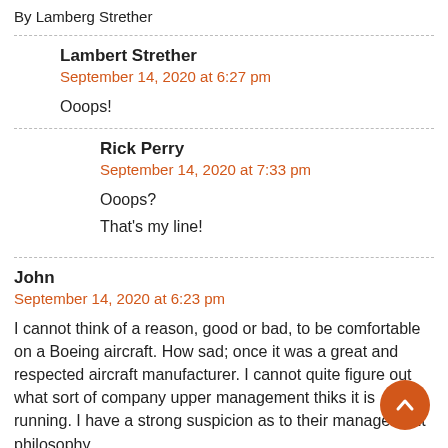By Lamberg Strether
Lambert Strether
September 14, 2020 at 6:27 pm
Ooops!
Rick Perry
September 14, 2020 at 7:33 pm
Ooops?
That's my line!
John
September 14, 2020 at 6:23 pm
I cannot think of a reason, good or bad, to be comfortable on a Boeing aircraft. How sad; once it was a great and respected aircraft manufacturer. I cannot quite figure out what sort of company upper management thi nks it is running. I have a strong suspicion as to their management philosophy.